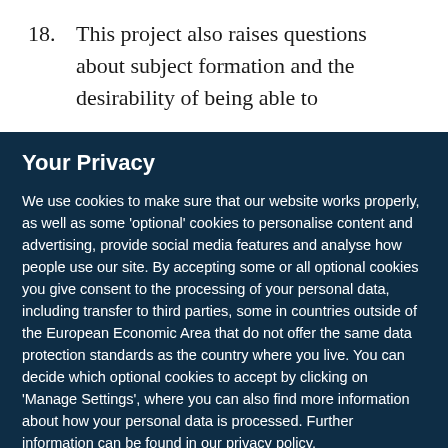18.  This project also raises questions about subject formation and the desirability of being able to
Your Privacy
We use cookies to make sure that our website works properly, as well as some ‘optional’ cookies to personalise content and advertising, provide social media features and analyse how people use our site. By accepting some or all optional cookies you give consent to the processing of your personal data, including transfer to third parties, some in countries outside of the European Economic Area that do not offer the same data protection standards as the country where you live. You can decide which optional cookies to accept by clicking on ‘Manage Settings’, where you can also find more information about how your personal data is processed. Further information can be found in our privacy policy.
Accept all cookies
Manage preferences